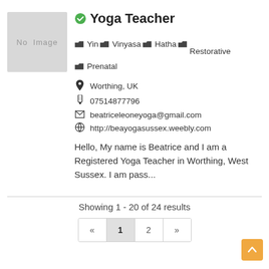[Figure (illustration): Placeholder profile photo box with text 'No Image' on grey background]
Yoga Teacher
Yin  Vinyasa  Hatha  Restorative  Prenatal
Worthing, UK
07514877796
beatriceleoneyoga@gmail.com
http://beayogasussex.weebly.com
Hello, My name is Beatrice and I am a Registered Yoga Teacher in Worthing, West Sussex. I am pass...
Showing 1 - 20 of 24 results